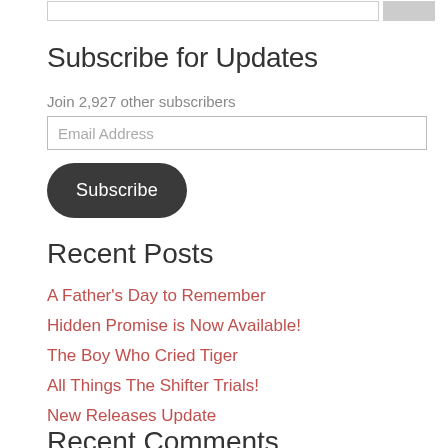Subscribe for Updates
Join 2,927 other subscribers
Email Address
Subscribe
Recent Posts
A Father's Day to Remember
Hidden Promise is Now Available!
The Boy Who Cried Tiger
All Things The Shifter Trials!
New Releases Update
Recent Comments